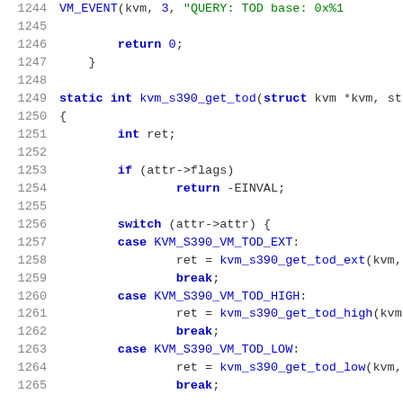[Figure (screenshot): Source code snippet in C showing lines 1244-1265 of a KVM s390 TOD (Time of Day) implementation. Lines show VM_EVENT call, return 0, closing brace, static int kvm_s390_get_tod function signature, local variable int ret, if statement checking attr->flags returning -EINVAL, switch statement on attr->attr with cases for KVM_S390_VM_TOD_EXT, KVM_S390_VM_TOD_HIGH, and KVM_S390_VM_TOD_LOW.]